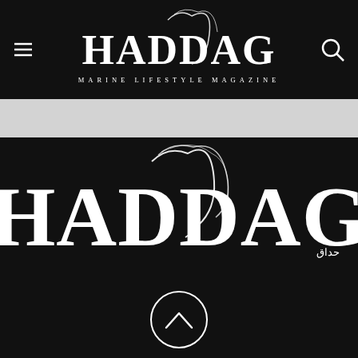[Figure (logo): HADDAG Marine Lifestyle Magazine header logo with decorative script swash, white on black background, with hamburger menu icon on left and search icon on right]
[Figure (logo): Large HADDAG logo with decorative calligraphic swash overlay and Arabic text, white on black background, with scroll-up circle button at bottom]